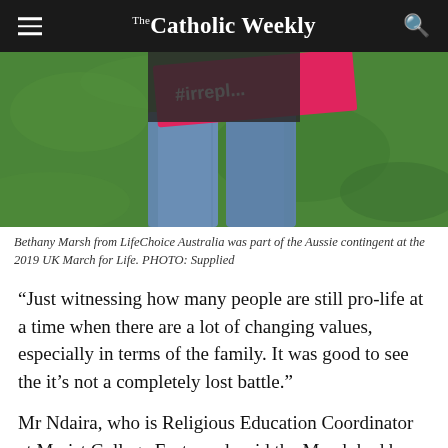The Catholic Weekly
[Figure (photo): A person wearing blue jeans and holding a pink sign with '#irrepl...' text, standing on green grass. Partial body shot showing waist down.]
Bethany Marsh from LifeChoice Australia was part of the Aussie contingent at the 2019 UK March for Life. PHOTO: Supplied
“Just witnessing how many people are still pro-life at a time when there are a lot of changing values, especially in terms of the family. It was good to see the it’s not a completely lost battle.”
Mr Ndaira, who is Religious Education Coordinator at Marist College Eastwood, said the March had been a “remarkably positive” experience.